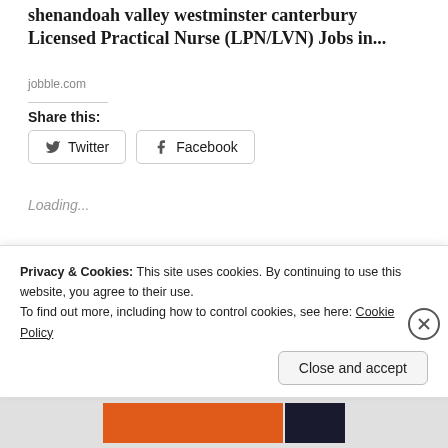shenandoah valley westminster canterbury Licensed Practical Nurse (LPN/LVN) Jobs in...
jobble.com
Share this:
Twitter
Facebook
Loading...
Related
Privacy & Cookies: This site uses cookies. By continuing to use this website, you agree to their use.
To find out more, including how to control cookies, see here: Cookie Policy
Close and accept